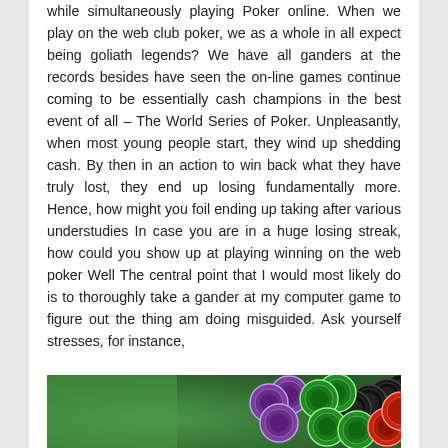while simultaneously playing Poker online. When we play on the web club poker, we as a whole in all expect being goliath legends? We have all ganders at the records besides have seen the on-line games continue coming to be essentially cash champions in the best event of all – The World Series of Poker. Unpleasantly, when most young people start, they wind up shedding cash. By then in an action to win back what they have truly lost, they end up losing fundamentally more. Hence, how might you foil ending up taking after various understudies In case you are in a huge losing streak, how could you show up at playing winning on the web poker Well The central point that I would most likely do is to thoroughly take a gander at my computer game to figure out the thing am doing misguided. Ask yourself stresses, for instance,
[Figure (photo): Photo of poker chips on a green felt table surface. Various colored chips including purple, green, black, and red are scattered on the green background.]